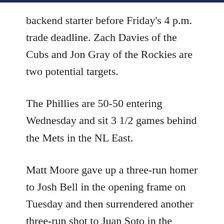backend starter before Friday's 4 p.m. trade deadline. Zach Davies of the Cubs and Jon Gray of the Rockies are two potential targets.
The Phillies are 50-50 entering Wednesday and sit 3 1/2 games behind the Mets in the NL East.
Matt Moore gave up a three-run homer to Josh Bell in the opening frame on Tuesday and then surrendered another three-run shot to Juan Soto in the second, putting the